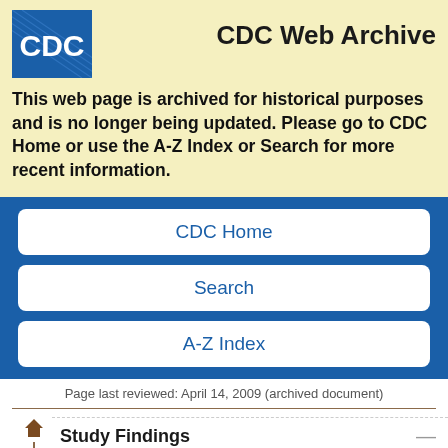[Figure (logo): CDC logo - blue square with white CDC text and diagonal lines pattern]
CDC Web Archive
This web page is archived for historical purposes and is no longer being updated. Please go to CDC Home or use the A-Z Index or Search for more recent information.
CDC Home
Search
A-Z Index
Page last reviewed: April 14, 2009 (archived document)
Study Findings